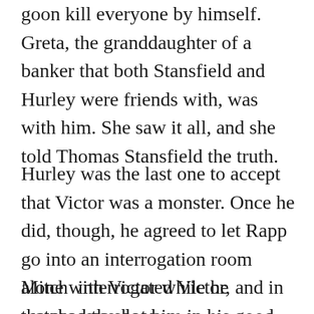goon kill everyone by himself. Greta, the granddaughter of a banker that both Stansfield and Hurley were friends with, was with him. She saw it all, and she told Thomas Stansfield the truth.
Hurley was the last one to accept that Victor was a monster. Once he did, though, he agreed to let Rapp go into an interrogation room alone with Victor while he watched the door.
Mitch  interrogated Victor, and in the process shot him in his good knee, both